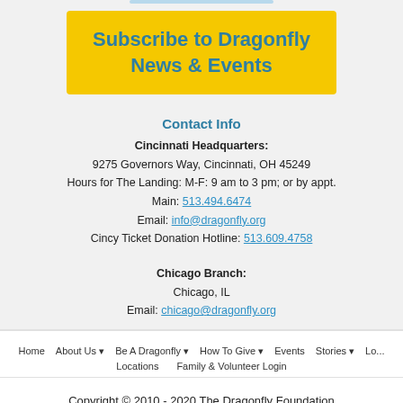Subscribe to Dragonfly News & Events
Contact Info
Cincinnati Headquarters:
9275 Governors Way, Cincinnati, OH 45249
Hours for The Landing: M-F: 9 am to 3 pm; or by appt.
Main: 513.494.6474
Email: info@dragonfly.org
Cincy Ticket Donation Hotline: 513.609.4758
Chicago Branch:
Chicago, IL
Email: chicago@dragonfly.org
Home  About Us  Be A Dragonfly  How To Give  Events  Stories  Lo...  Locations  Family & Volunteer Login
Copyright © 2010 - 2020 The Dragonfly Foundation
Privacy Policy | Terms & Conditions